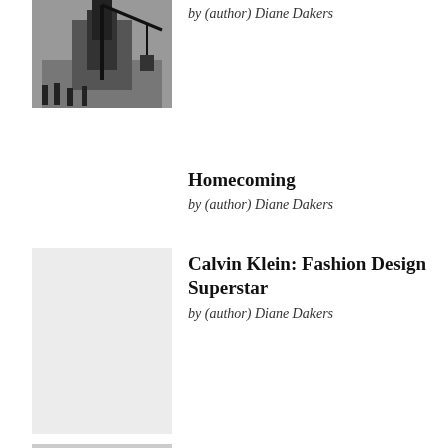[Figure (photo): Black and white photograph showing people near industrial equipment or scaffolding]
by (author) Diane Dakers
Homecoming
by (author) Diane Dakers
[Figure (photo): Light gray placeholder image for Calvin Klein: Fashion Design Superstar book cover]
Calvin Klein: Fashion Design Superstar
by (author) Diane Dakers
Vera Wang: A Passion for Bridal